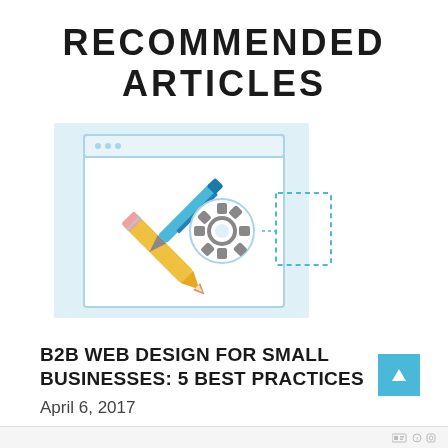RECOMMENDED ARTICLES
[Figure (illustration): Web design illustration showing a browser window with crossed pencil and pen tools, a gear/settings icon, and a dashed rectangle, on a light blue background]
B2B WEB DESIGN FOR SMALL BUSINESSES: 5 BEST PRACTICES
April 6, 2017